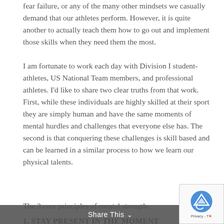fear failure, or any of the many other mindsets we casually demand that our athletes perform. However, it is quite another to actually teach them how to go out and implement those skills when they need them the most.
I am fortunate to work each day with Division I student-athletes, US National Team members, and professional athletes. I'd like to share two clear truths from that work. First, while these individuals are highly skilled at their sport they are simply human and have the same moments of mental hurdles and challenges that everyone else has. The second is that conquering these challenges is skill based and can be learned in a similar process to how we learn our physical talents.
The 3 core principles of mental strength:
1. STAY PRESENT IN THE MOMENT